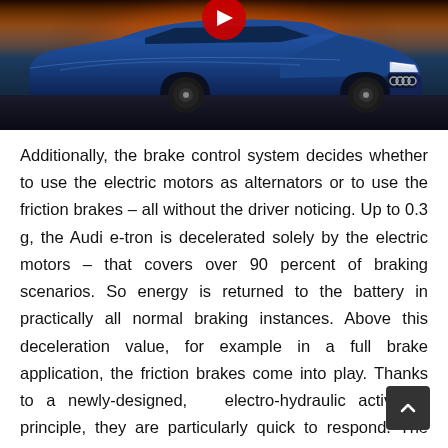[Figure (photo): Blue Audi e-tron electric SUV photographed at dusk/night, front three-quarter view, with a red play button icon overlay in the upper-center area of the image.]
Additionally, the brake control system decides whether to use the electric motors as alternators or to use the friction brakes – all without the driver noticing. Up to 0.3 g, the Audi e-tron is decelerated solely by the electric motors – that covers over 90 percent of braking scenarios. So energy is returned to the battery in practically all normal braking instances. Above this deceleration value, for example in a full brake application, the friction brakes come into play. Thanks to a newly-designed,   electro-hydraulic activation principle, they are particularly quick to respond. The driver can select the degree of energy recovery in three stages by means of paddles on the steering wheel. In the lowest setting, the Audi e-tron glides with no additional braking torque.  At the highest stage, the electric SUV is slowed